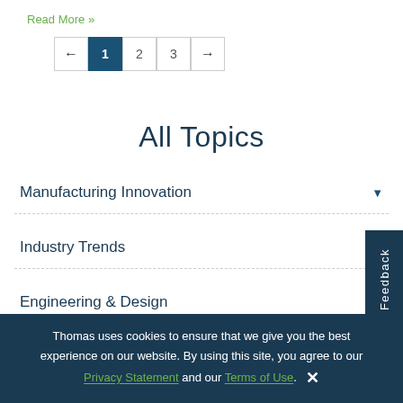Read More »
[Figure (other): Pagination control with back arrow, page 1 (active/highlighted), 2, 3, forward arrow]
All Topics
Manufacturing Innovation
Industry Trends
Engineering & Design
Thomas uses cookies to ensure that we give you the best experience on our website. By using this site, you agree to our Privacy Statement and our Terms of Use.